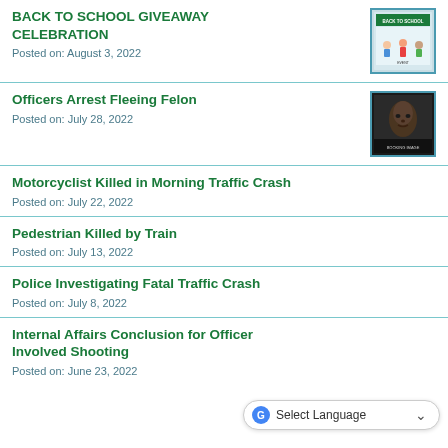BACK TO SCHOOL GIVEAWAY CELEBRATION
Posted on: August 3, 2022
[Figure (photo): Back to School Giveaway Celebration event flyer with children]
Officers Arrest Fleeing Felon
Posted on: July 28, 2022
[Figure (photo): Booking image - mugshot of arrested felon]
Motorcyclist Killed in Morning Traffic Crash
Posted on: July 22, 2022
Pedestrian Killed by Train
Posted on: July 13, 2022
Police Investigating Fatal Traffic Crash
Posted on: July 8, 2022
Internal Affairs Conclusion for Officer Involved Shooting
Posted on: June 23, 2022